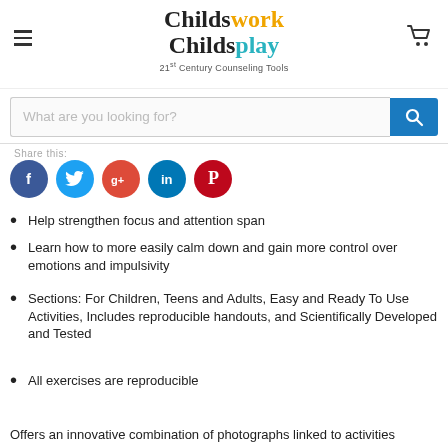Childswork Childsplay — 21st Century Counseling Tools
What are you looking for?
Share this:
[Figure (infographic): Row of five social media share icons: Facebook (dark blue), Twitter (light blue), Google+ (red), LinkedIn (teal/blue), Pinterest (dark red)]
Help strengthen focus and attention span
Learn how to more easily calm down and gain more control over emotions and impulsivity
Sections: For Children, Teens and Adults, Easy and Ready To Use Activities, Includes reproducible handouts, and Scientifically Developed and Tested
All exercises are reproducible
Offers an innovative combination of photographs linked to activities